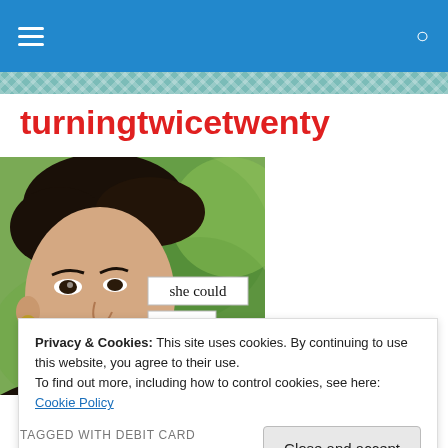turningtwicetwenty – navigation bar
turningtwicetwenty
[Figure (illustration): Vintage illustration of a woman's face with dark upswept hair, wearing an earring, with a green painted background. Overlaid with two white label text boxes reading 'she could' and 'see'.]
Privacy & Cookies: This site uses cookies. By continuing to use this website, you agree to their use.
To find out more, including how to control cookies, see here: Cookie Policy
[Close and accept]
TAGGED WITH DEBIT CARD